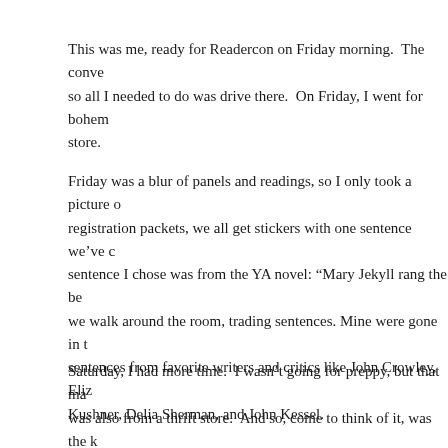This was me, ready for Readercon on Friday morning. The conve so all I needed to do was drive there. On Friday, I went for bohem store.
Friday was a blur of panels and readings, so I only took a picture o registration packets, we all get stickers with one sentence we've c sentence I chose was from the YA novel: "Mary Jekyll rang the be we walk around the room, trading sentences. Mine were gone in t sentences from favorite writers and critics like John Crowley, Eliz Kushner, Delia Sherman, and John Kessel.
Saturday, I had more time. I wasn't going for preppy, but that ma was also from a thrift store. And so, come to think of it, was the k notebook, pens, and bottled water. Essential con supplies.